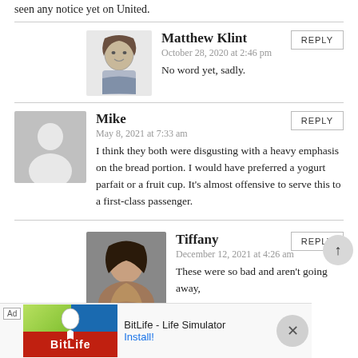seen any notice yet on United.
Matthew Klint
October 28, 2020 at 2:46 pm
No word yet, sadly.
Mike
May 8, 2021 at 7:33 am
I think they both were disgusting with a heavy emphasis on the bread portion. I would have preferred a yogurt parfait or a fruit cup. It's almost offensive to serve this to a first-class passenger.
Tiffany
December 12, 2021 at 4:26 am
These were so bad and aren't going away,
BitLife - Life Simulator
Install!